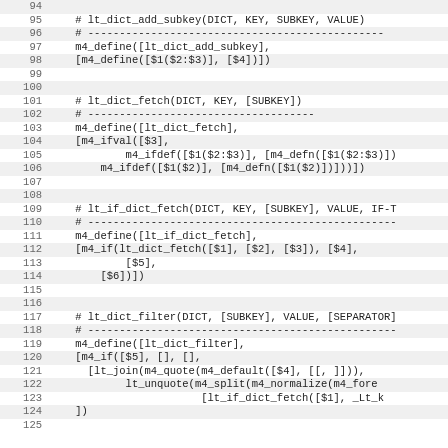Code listing lines 94-125, m4 macro definitions for lt_dict_add_subkey, lt_dict_fetch, lt_if_dict_fetch, lt_dict_filter